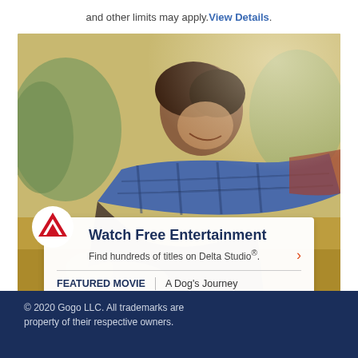and other limits may apply. View Details.
[Figure (photo): A young man smiling and leaning forward outdoors, wearing a blue plaid shirt, with trees and golden grass in the background. Delta Airlines promotional image overlay with card showing Watch Free Entertainment feature.]
Watch Free Entertainment
Find hundreds of titles on Delta Studio®.
FEATURED MOVIE   A Dog's Journey
© 2020 Gogo LLC. All trademarks are property of their respective owners.